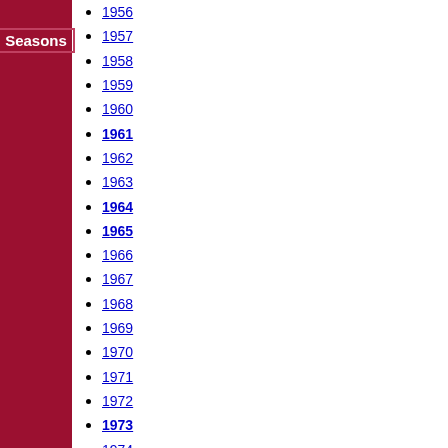Seasons
1956
1957
1958
1959
1960
1961
1962
1963
1964
1965
1966
1967
1968
1969
1970
1971
1972
1973
1974
1975
1976
1977
1978
1979
1980
1981